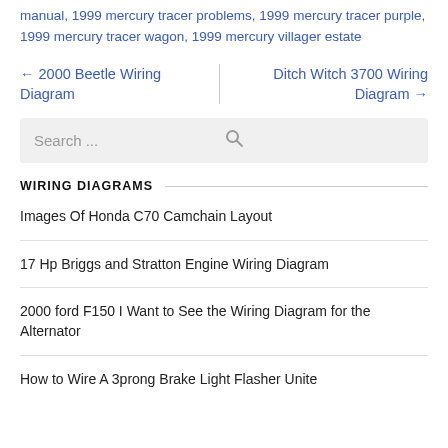manual, 1999 mercury tracer problems, 1999 mercury tracer purple, 1999 mercury tracer wagon, 1999 mercury villager estate
← 2000 Beetle Wiring Diagram
Ditch Witch 3700 Wiring Diagram →
[Figure (screenshot): Search bar with placeholder text 'Search ...' and a magnifying glass icon on the right]
WIRING DIAGRAMS
Images Of Honda C70 Camchain Layout
17 Hp Briggs and Stratton Engine Wiring Diagram
2000 ford F150 I Want to See the Wiring Diagram for the Alternator
How to Wire A 3prong Brake Light Flasher Unite